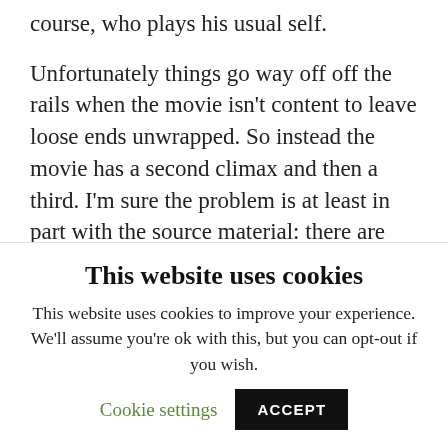course, who plays his usual self.
Unfortunately things go way off off the rails when the movie isn't content to leave loose ends unwrapped. So instead the movie has a second climax and then a third. I'm sure the problem is at least in part with the source material: there are too many plot twists and the things that are appealing – the humanness of just about everyone involved, the low-tech and
This website uses cookies
This website uses cookies to improve your experience. We'll assume you're ok with this, but you can opt-out if you wish.
Cookie settings  ACCEPT